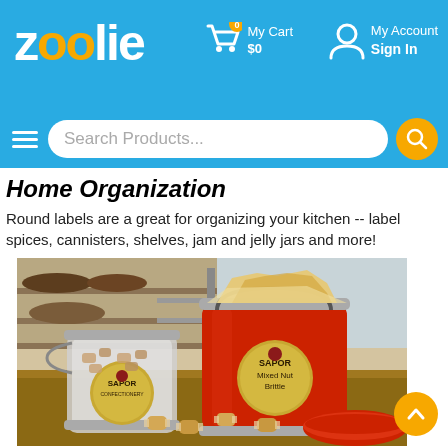zoolie — My Cart $0 | My Account Sign In
Search Products...
Home Organization
Round labels are a great for organizing your kitchen -- label spices, cannisters, shelves, jam and jelly jars and more!
[Figure (photo): Two metal canisters labeled 'SAPOR' — one clear/silver container and one red container labeled 'Mixed Nut Brittle' — filled with snacks, with caramel candies scattered in front on a wooden surface.]